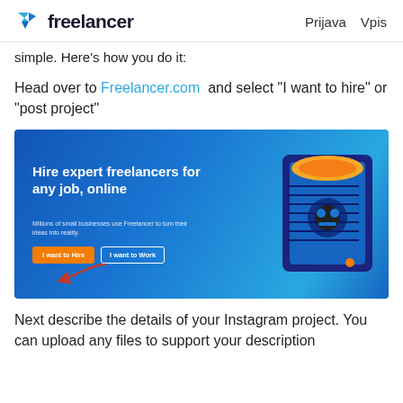freelancer   Prijava  Vpis
simple. Here's how you do it:
Head over to Freelancer.com and select "I want to hire" or "post project"
[Figure (screenshot): Screenshot of Freelancer.com homepage showing blue background with 'Hire expert freelancers for any job, online' heading, 'I want to Hire' orange button and 'I want to Work' outline button, with a red arrow pointing to the 'I want to Hire' button, and a robotic device image on the right side.]
Next describe the details of your Instagram project. You can upload any files to support your description